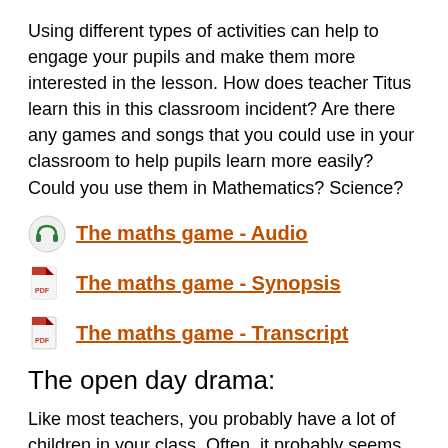Using different types of activities can help to engage your pupils and make them more interested in the lesson. How does teacher Titus learn this in this classroom incident? Are there any games and songs that you could use in your classroom to help pupils learn more easily? Could you use them in Mathematics? Science?
The maths game - Audio
The maths game - Synopsis
The maths game - Transcript
The open day drama:
Like most teachers, you probably have a lot of children in your class. Often, it probably seems like your class is far too big for you to teach properly. How does working in groups help pupils to learn? Think about what the pupils are learning in this incident at the school open day. In this